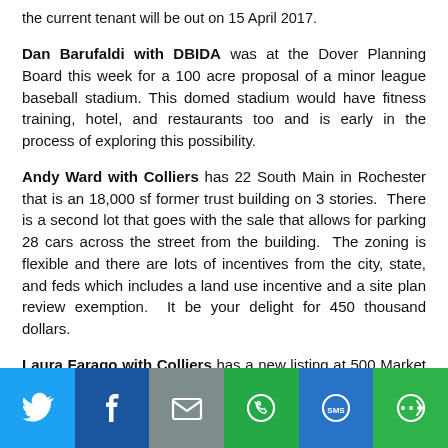the current tenant will be out on 15 April 2017.
Dan Barufaldi with DBIDA was at the Dover Planning Board this week for a 100 acre proposal of a minor league baseball stadium. This domed stadium would have fitness training, hotel, and restaurants too and is early in the process of exploring this possibility.
Andy Ward with Colliers has 22 South Main in Rochester that is an 18,000 sf former trust building on 3 stories. There is a second lot that goes with the sale that allows for parking 28 cars across the street from the building. The zoning is flexible and there are lots of incentives from the city, state, and feds which includes a land use incentive and a site plan review exemption. It be your delight for 450 thousand dollars.
Laura Farago with Colliers has a new listing at 500 Market Street on Nobles Island that looks out onto Market Street and the Port Authority entailing 1540 sf with 4 offices, kitchen, conference room, and reception/bullpen for 23 dollars psf plus utilities.
[Figure (infographic): Social sharing bar with Twitter, Facebook, Email, WhatsApp, SMS, and More icons]